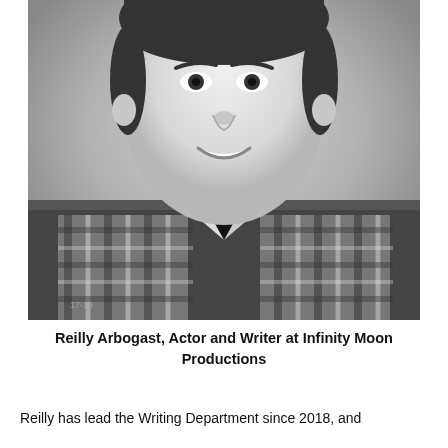[Figure (photo): Black and white portrait photograph of a young boy, approximately 10-12 years old, smiling at the camera. He is wearing a black and white gingham/checkered button-up shirt. Short dark hair. Studio-style portrait with a neutral gray background. A small date watermark is visible in the lower left corner reading '17-18'.]
Reilly Arbogast, Actor and Writer at Infinity Moon Productions
Reilly has lead the Writing Department since 2018, and